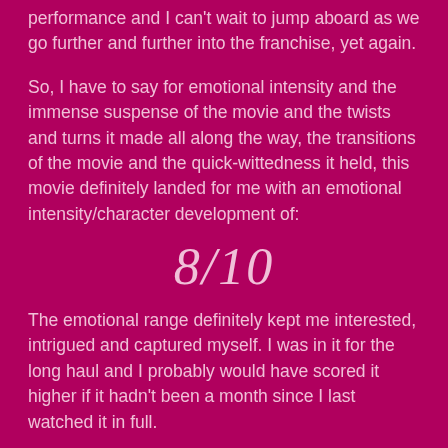performance and I can't wait to jump aboard as we go further and further into the franchise, yet again.
So, I have to say for emotional intensity and the immense suspense of the movie and the twists and turns it made all along the way, the transitions of the movie and the quick-wittedness it held, this movie definitely landed for me with an emotional intensity/character development of:
8/10
The emotional range definitely kept me interested, intrigued and captured myself. I was in it for the long haul and I probably would have scored it higher if it hadn't been a month since I last watched it in full.